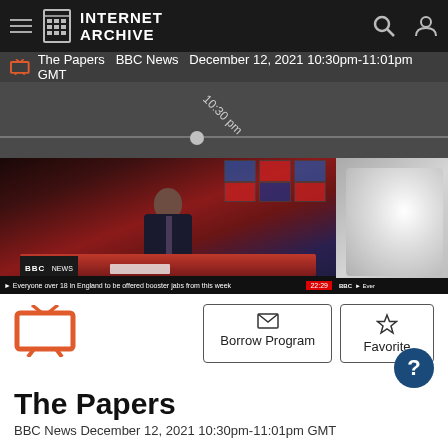INTERNET ARCHIVE
The Papers  BBC News  December 12, 2021 10:30pm-11:01pm GMT
[Figure (screenshot): Timeline scrubber showing 10:30 pm marker on a dark gray bar]
[Figure (screenshot): BBC News studio video thumbnail showing anchor at desk with BBC NEWS ticker reading 'Everyone over 18 in England to be offered booster jabs from this week' with timestamp 22:29]
Borrow Program
Favorite
The Papers
BBC News December 12, 2021 10:30pm-11:01pm GMT